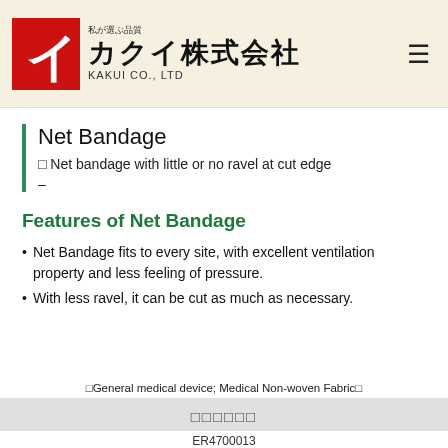私が選ぶ品質 カクイ株式会社 KAKUI CO., LTD
Net Bandage
□ Net bandage with little or no ravel at cut edge
–
Features of Net Bandage
Net Bandage fits to every site, with excellent ventilation property and less feeling of pressure.
With less ravel, it can be cut as much as necessary.
□General medical device; Medical Non-woven Fabric□
□□□□□□
ER4700013